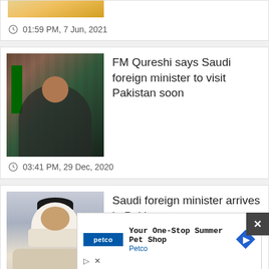[Figure (photo): Partial top image of food/fruits, cropped at top]
01:59 PM, 7 Jun, 2021
[Figure (photo): FM Qureshi giving thumbs up with Pakistani flag in background]
FM Qureshi says Saudi foreign minister to visit Pakistan soon
03:41 PM, 29 Dec, 2020
[Figure (photo): Saudi foreign minister in traditional white headwear]
Saudi foreign minister arrives in Pakistan
12...
[Figure (other): Petco advertisement: Your One-Stop Summer Pet Shop]